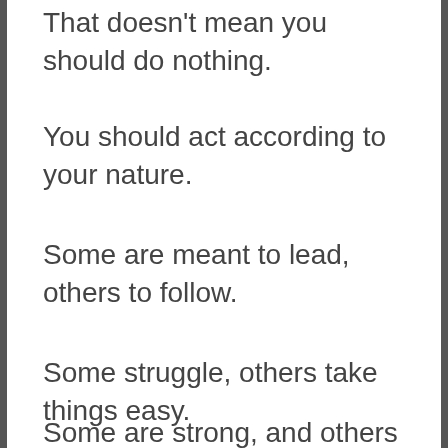That doesn't mean you should do nothing.
You should act according to your nature.
Some are meant to lead, others to follow.
Some struggle, others take things easy.
Some are strong, and others